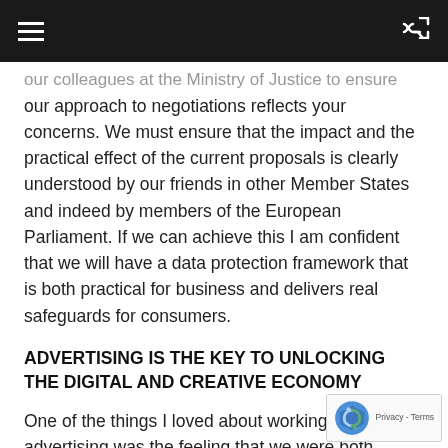☰  ⇌
our colleagues at the Ministry of Justice to ensure our approach to negotiations reflects your concerns. We must ensure that the impact and the practical effect of the current proposals is clearly understood by our friends in other Member States and indeed by members of the European Parliament. If we can achieve this I am confident that we will have a data protection framework that is both practical for business and delivers real safeguards for consumers.
ADVERTISING IS THE KEY TO UNLOCKING THE DIGITAL AND CREATIVE ECONOMY
One of the things I loved about working in advertising was the feeling that we were both feeding-off and driving creative and technologi...